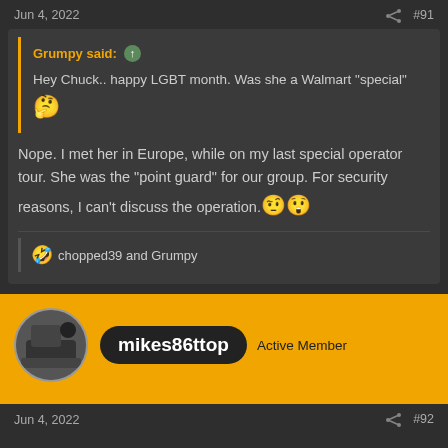Jun 4, 2022   #91
Grumpy said: ↑
Hey Chuck.. happy LGBT month. Was she a Walmart "special" 🤔
Nope. I met her in Europe, while on my last special operator tour. She was the "point guard" for our group. For security reasons, I can't discuss the operation. 🤨😲
🤣 chopped39 and Grumpy
mikes86ttop   Active Member
Jun 4, 2022   #92